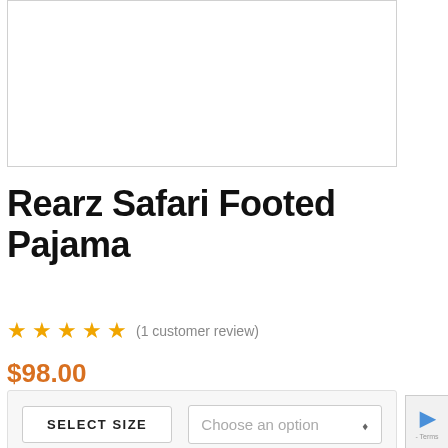[Figure (photo): Product image area - white box placeholder for Rearz Safari Footed Pajama product photo]
Rearz Safari Footed Pajama
★★★★★ (1 customer review)
$98.00
SELECT SIZE   Choose an option